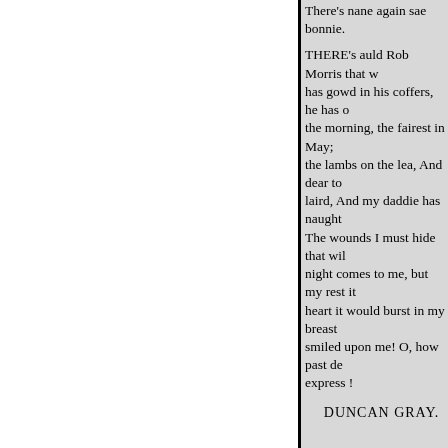There's nane again sae bonnie.
THERE's auld Rob Morris that w has gowd in his coffers, he has o the morning, the fairest in May; the lambs on the lea, And dear to laird, And my daddie has naught The wounds I must hide that wil night comes to me, but my rest i heart it would burst in my breas smiled upon me! O, how past de express !
DUNCAN GRAY.
TUNE_" Catharine Ogie." Ye
The castle o' Montgomery Green be your woods, and f
Your waters never drumli There simmer first unfauld
And there the langest tarry For there I took the last fare